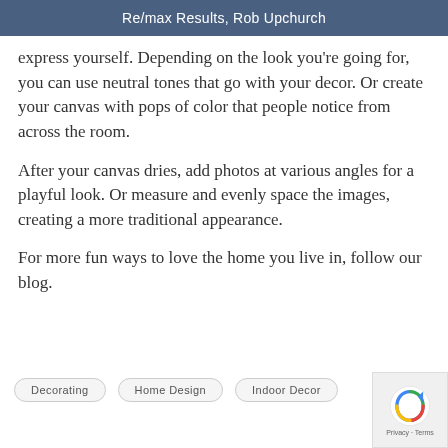Re/max Results, Rob Upchurch
express yourself. Depending on the look you're going for, you can use neutral tones that go with your decor. Or create your canvas with pops of color that people notice from across the room.
After your canvas dries, add photos at various angles for a playful look. Or measure and evenly space the images, creating a more traditional appearance.
For more fun ways to love the home you live in, follow our blog.
Decorating
Home Design
Indoor Decor